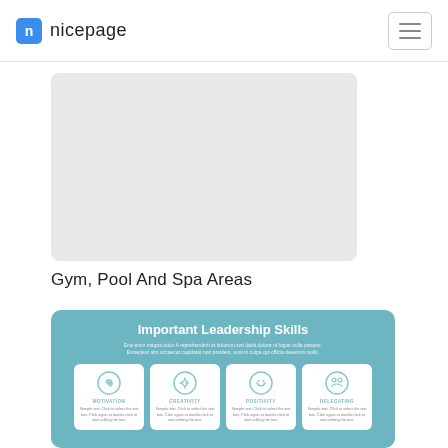nicepage
[Figure (photo): Gray placeholder image rectangle]
Gym, Pool And Spa Areas
Important Leadership Skills
Erat enim magna dolor A reprehenderit et laborum sint debit dolore ut fugiat nulla pariatur. Excepteur sint occaecat cupidatat non proident, sunt in culpa qui officia deserunt mollit.
MOTIVATION - Sample text. Click to select the text box. Click again or double click to start editing the text.
CREATIVITY - Sample text. Click to select the text box. Click again or double click to start editing the text.
POSITIVITY - Sample text. Click to select the text box. Click again or double click to start editing the text.
DELEGATING - Sample text. Click to select the text box. Click again or double click to start editing the text.